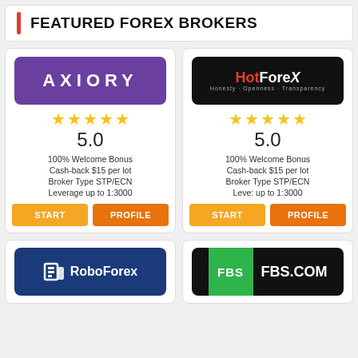FEATURED FOREX BROKERS
[Figure (logo): Axiory broker logo - purple background with white text AXIORY]
5.0
100% Welcome Bonus
Cash-back $15 per lot
Broker Type STP/ECN
Leverage up to 1:3000
[Figure (logo): HotForex broker logo - black background with red Hot and white Forex text]
5.0
100% Welcome Bonus
Cash-back $15 per lot
Broker Type STP/ECN
Leve: up to 1:3000
[Figure (logo): RoboForex broker logo - blue background with white RoboForex text and icon]
[Figure (logo): FBS.COM broker logo - black background with green FBS panel and white FBS.COM text]